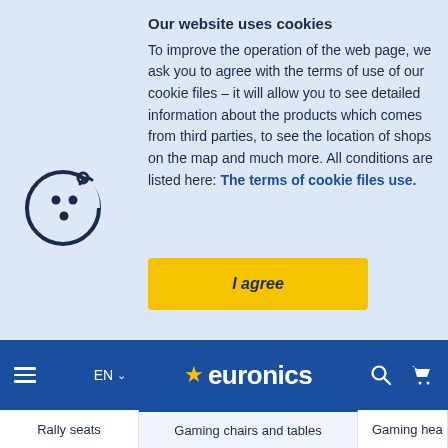[Figure (illustration): Cookie icon — a round cookie with dot patterns and a bite taken out, drawn in navy blue outline style]
Our website uses cookies
To improve the operation of the web page, we ask you to agree with the terms of use of our cookie files – it will allow you to see detailed information about the products which comes from third parties, to see the location of shops on the map and much more. All conditions are listed here: The terms of cookie files use.
I agree
≡  EN ∨  ☆euronics  🔍  🛒
Rally seats   Gaming chairs and tables   Gaming head